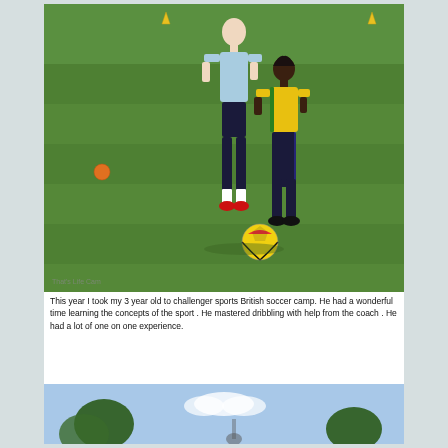[Figure (photo): A tall coach in a light blue shirt and dark shorts stands on a green grass field next to a young child wearing a yellow soccer jersey and dark pants. A colorful soccer ball (yellow, red, white) is on the ground near the child. Yellow cones are visible in the background. The setting is a sunny outdoor soccer camp.]
This year I took my 3 year old to challenger sports British soccer camp.  He had a wonderful time learning the concepts of the sport . He mastered dribbling with help from the coach .  He had a lot of one on one  experience.
[Figure (photo): Partial bottom photo showing trees and sky, the top portion of another outdoor scene at the soccer camp.]